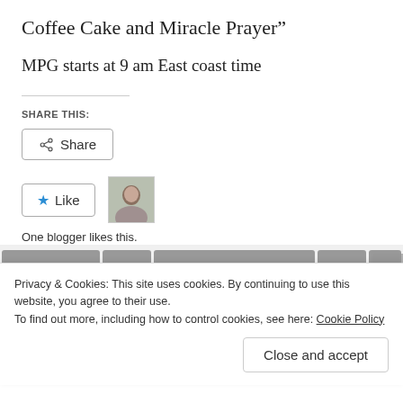Coffee Cake and Miracle Prayer”
MPG starts at 9 am East coast time
SHARE THIS:
[Figure (other): Share button with share icon]
[Figure (other): Like button with star icon and blogger avatar thumbnail. Text: One blogger likes this.]
One blogger likes this.
Privacy & Cookies: This site uses cookies. By continuing to use this website, you agree to their use.
To find out more, including how to control cookies, see here: Cookie Policy
Close and accept